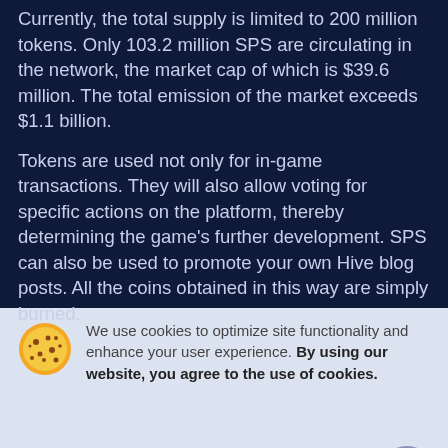Currently, the total supply is limited to 200 million tokens. Only 103.2 million SPS are circulating in the network, the market cap of which is $39.6 million. The total emission of the market exceeds $1.1 billion.
Tokens are used not only for in-game transactions. They will also allow voting for specific actions on the platform, thereby determining the game's further development. SPS can also be used to promote your own Hive blog posts. All the coins obtained in this way are simply burned.
We use cookies to optimize site functionality and enhance your user experience. By using our website, you agree to the use of cookies.
Got It!
More Info